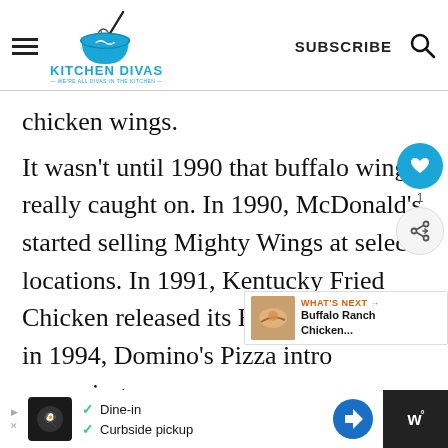Kitchen Divas — We're all divas in the kitchen — SUBSCRIBE
chicken wings.
It wasn't until 1990 that buffalo wings really caught on. In 1990, McDonald's started selling Mighty Wings at select locations. In 1991, Kentucky Fried Chicken released its Hot Wings. and in 1994, Domino's Pizza introduced own wings.
[Figure (screenshot): Ad bar at the bottom: Dine-in, Curbside pickup options with logo and direction icon]
[Figure (infographic): What's Next overlay card showing Buffalo Ranch Chicken...]